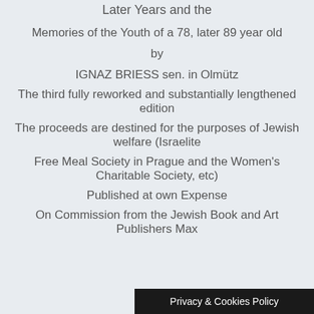Later Years and the
Memories of the Youth of a 78, later 89 year old
by
IGNAZ BRIESS sen. in Olmütz
The third fully reworked and substantially lengthened edition
The proceeds are destined for the purposes of Jewish welfare (Israelite
Free Meal Society in Prague and the Women's Charitable Society, etc)
Published at own Expense
On Commission from the Jewish Book and Art Publishers Max